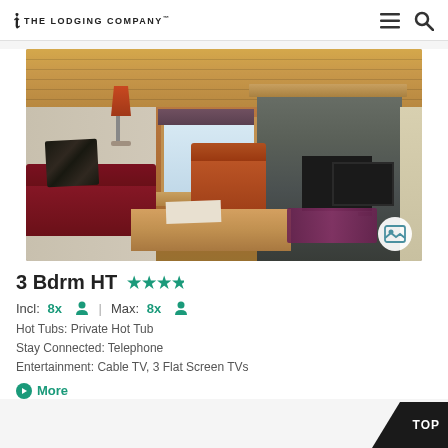The Lodging Company
[Figure (photo): Interior of a mountain lodge living room with wood ceiling, stone fireplace, red sofa, armchair, and coffee table]
3 Bdrm HT  ★★★½
Incl: 8x 👤  |  Max: 8x 👤
Hot Tubs: Private Hot Tub
Stay Connected: Telephone
Entertainment: Cable TV, 3 Flat Screen TVs
More